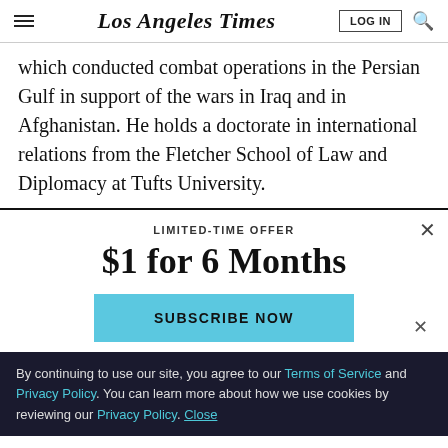Los Angeles Times | LOG IN | Search
which conducted combat operations in the Persian Gulf in support of the wars in Iraq and in Afghanistan. He holds a doctorate in international relations from the Fletcher School of Law and Diplomacy at Tufts University.
LIMITED-TIME OFFER
$1 for 6 Months
SUBSCRIBE NOW
By continuing to use our site, you agree to our Terms of Service and Privacy Policy. You can learn more about how we use cookies by reviewing our Privacy Policy. Close